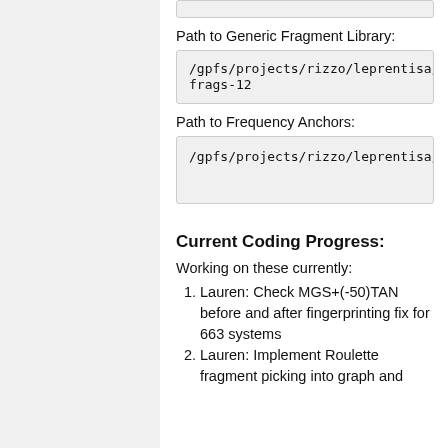Path to Generic Fragment Library:
/gpfs/projects/rizzo/leprentisa/frags-12
Path to Frequency Anchors:
/gpfs/projects/rizzo/leprentisa/
Current Coding Progress:
Working on these currently:
Lauren: Check MGS+(-50)TAN before and after fingerprinting fix for 663 systems
Lauren: Implement Roulette fragment picking into graph and